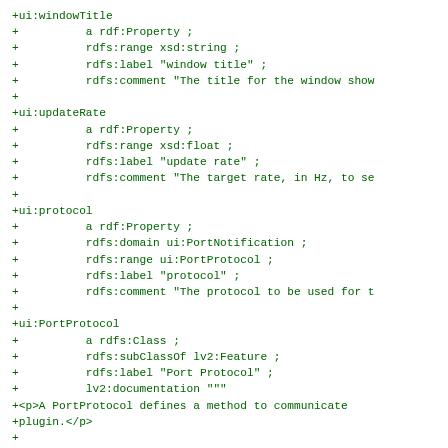+ui:windowTitle
+          a rdf:Property ;
+          rdfs:range xsd:string ;
+          rdfs:label "window title" ;
+          rdfs:comment "The title for the window show
+
+ui:updateRate
+          a rdf:Property ;
+          rdfs:range xsd:float ;
+          rdfs:label "update rate" ;
+          rdfs:comment "The target rate, in Hz, to se
+
+ui:protocol
+          a rdf:Property ;
+          rdfs:domain ui:PortNotification ;
+          rdfs:range ui:PortProtocol ;
+          rdfs:label "protocol" ;
+          rdfs:comment "The protocol to be used for t
+
+ui:PortProtocol
+          a rdfs:Class ;
+          rdfs:subClassOf lv2:Feature ;
+          rdfs:label "Port Protocol" ;
+          lv2:documentation """
+<p>A PortProtocol defines a method to communicate
+plugin.</p>
+
+<p>Any PortProtocol MUST define:</p>
+<table>
+<tr><th>Port Type</th>